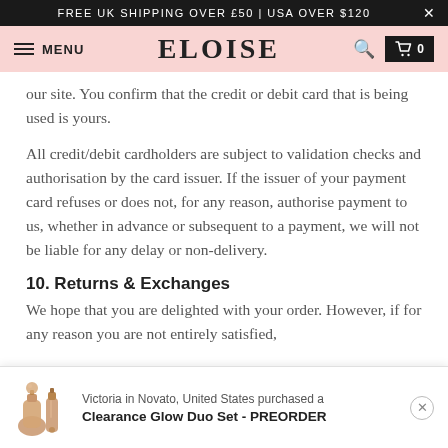FREE UK SHIPPING OVER £50 | USA OVER $120
[Figure (screenshot): Website navigation bar with hamburger menu, MENU text, ELOISE brand name, search icon, and cart icon showing 0 items]
our site. You confirm that the credit or debit card that is being used is yours.
All credit/debit cardholders are subject to validation checks and authorisation by the card issuer. If the issuer of your payment card refuses or does not, for any reason, authorise payment to us, whether in advance or subsequent to a payment, we will not be liable for any delay or non-delivery.
10. Returns & Exchanges
We hope that you are delighted with your order. However, if for any reason you are not entirely satisfied,
[Figure (infographic): Purchase notification popup showing Victoria in Novato, United States purchased a Clearance Glow Duo Set - PREORDER, with product images on the left]